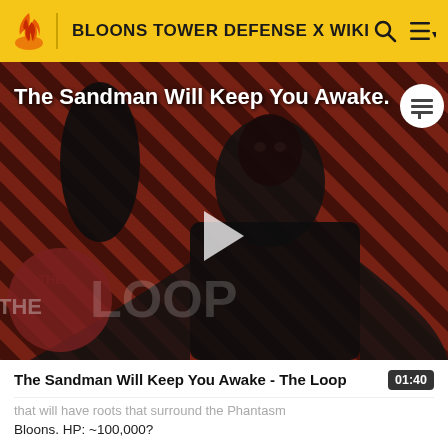BLOONS TOWER DEFENSE X WIKI
[Figure (screenshot): Video thumbnail for 'The Sandman Will Keep You Awake - The Loop' showing a dark figure in black cloak against a red and black diagonal striped background, with 'THE LOOP' watermark text and a play button in the center.]
The Sandman Will Keep You Awake - The Loop
that will have roots that surround the Phantasm Bloons. HP: ~100,000?
Stage 2 "White Knight"- Spawns twice as many Sword Bloons faster, along with them dealing more damage